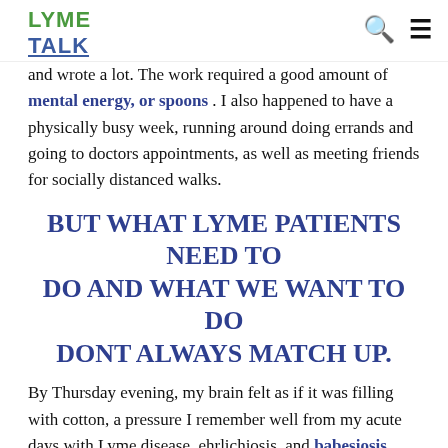LYME TALK
and wrote a lot. The work required a good amount of mental energy, or spoons . I also happened to have a physically busy week, running around doing errands and going to doctors appointments, as well as meeting friends for socially distanced walks.
BUT WHAT LYME PATIENTS NEED TO DO AND WHAT WE WANT TO DO DONT ALWAYS MATCH UP.
By Thursday evening, my brain felt as if it was filling with cotton, a pressure I remember well from my acute days with Lyme disease, ehrlichiosis, and babesiosis . This should have been my cue to stop and rest . What I really needed to do was darken the lights, put on some soft music,